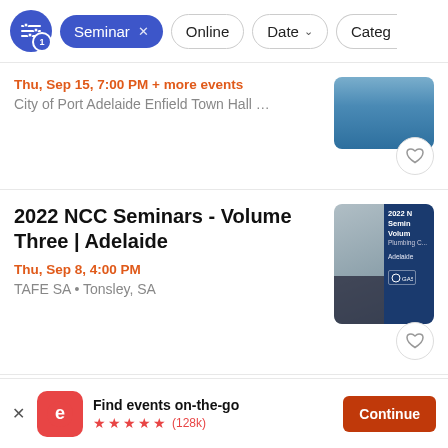Filter bar: Seminar x | Online | Date | Categ...
Thu, Sep 15, 7:00 PM + more events
City of Port Adelaide Enfield Town Hall …
2022 NCC Seminars - Volume Three | Adelaide
Thu, Sep 8, 4:00 PM
TAFE SA • Tonsley, SA
Find events on-the-go ★★★★★ (128k)  Continue